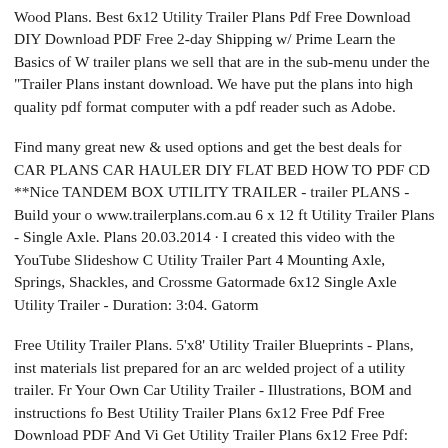Wood Plans. Best 6x12 Utility Trailer Plans Pdf Free Download DIY Download PDF Free 2-day Shipping w/ Prime Learn the Basics of W trailer plans we sell that are in the sub-menu under the "Trailer Plans instant download. We have put the plans into high quality pdf format computer with a pdf reader such as Adobe.
Find many great new & used options and get the best deals for CAR PLANS CAR HAULER DIY FLAT BED HOW TO PDF CD **Nice TANDEM BOX UTILITY TRAILER - trailer PLANS - Build your o www.trailerplans.com.au 6 x 12 ft Utility Trailer Plans - Single Axle. Plans 20.03.2014 · I created this video with the YouTube Slideshow C Utility Trailer Part 4 Mounting Axle, Springs, Shackles, and Crossme Gatormade 6x12 Single Axle Utility Trailer - Duration: 3:04. Gatorm
Free Utility Trailer Plans. 5'x8' Utility Trailer Blueprints - Plans, inst materials list prepared for an arc welded project of a utility trailer. Fr Your Own Car Utility Trailer - Illustrations, BOM and instructions fo Best Utility Trailer Plans 6x12 Free Pdf Free Download PDF And Vi Get Utility Trailer Plans 6x12 Free Pdf: Learn techniques & deepen y from pros. Discover classes, experts, and inspiration to bring your i